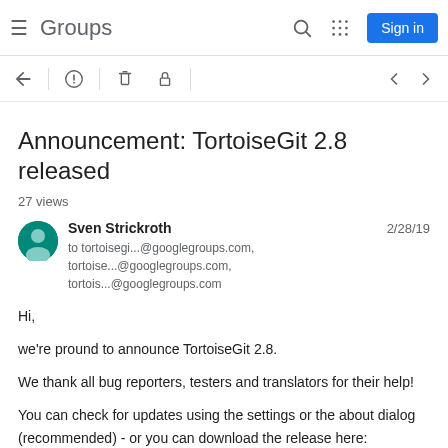Groups | Sign in
Announcement: TortoiseGit 2.8 released
27 views
Sven Strickroth  2/28/19
to tortoisegi...@googlegroups.com, tortoise...@googlegroups.com, tortois...@googlegroups.com
Hi,

we're pround to announce TortoiseGit 2.8.

We thank all bug reporters, testers and translators for their help!

You can check for updates using the settings or the about dialog (recommended) - or you can download the release here:
https://tortoisegit.org/download/

Changes since 2.7:
== Features ==